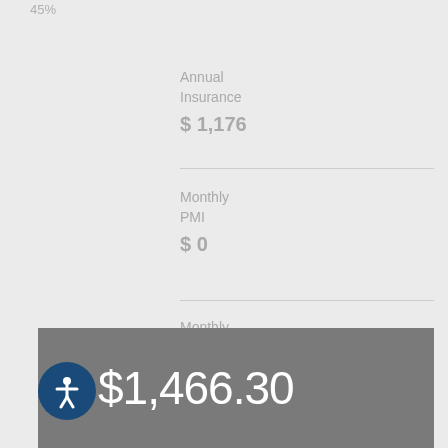45%
Annual Insurance
$ 1,176
Monthly PMI
$ 0
Monthly HOA
$ 0.00
$1,466.30